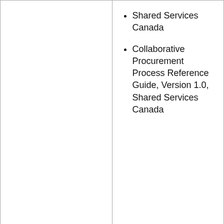| (continued from above) | • Shared Services Canada
• Collaborative Procurement Process Reference Guide, Version 1.0, Shared Services Canada |
| Systems are in place to detect and prevent procurement integrity risks and weaknesses prior to and during the procurement process. | • Financial Administration Act
• Contracting Policy, Treasury Board
• Policy on Financial Management, Treasury Board
• Policy on Internal Audit... |